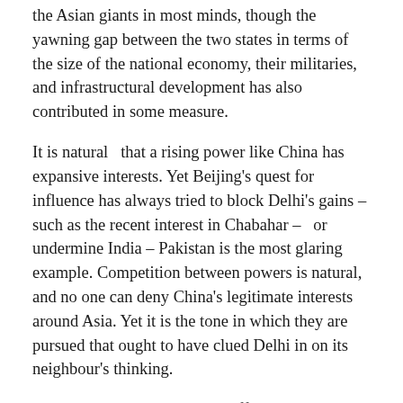the Asian giants in most minds, though the yawning gap between the two states in terms of the size of the national economy, their militaries, and infrastructural development has also contributed in some measure.
It is natural  that a rising power like China has expansive interests. Yet Beijing's quest for influence has always tried to block Delhi's gains – such as the recent interest in Chabahar –  or undermine India – Pakistan is the most glaring example. Competition between powers is natural, and no one can deny China's legitimate interests around Asia. Yet it is the tone in which they are pursued that ought to have clued Delhi in on its neighbour's thinking.
Delhi may believe China's indifference to be merely a psychological game but all indications suggest it is much more than that: Beijing does not see Delhi as its equal. This is why the response to overtures towards resolving